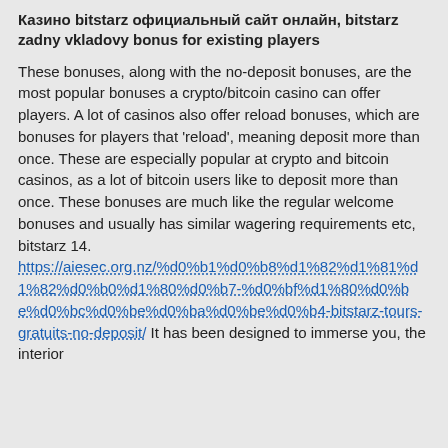Казино bitstarz официальный сайт онлайн, bitstarz zadny vkladovy bonus for existing players
These bonuses, along with the no-deposit bonuses, are the most popular bonuses a crypto/bitcoin casino can offer players. A lot of casinos also offer reload bonuses, which are bonuses for players that 'reload', meaning deposit more than once. These are especially popular at crypto and bitcoin casinos, as a lot of bitcoin users like to deposit more than once. These bonuses are much like the regular welcome bonuses and usually has similar wagering requirements etc, bitstarz 14. https://aiesec.org.nz/%d0%b1%d0%b8%d1%82%d1%81%d1%82%d0%b0%d1%80%d0%b7-%d0%bf%d1%80%d0%be%d0%bc%d0%be%d0%ba%d0%be%d0%b4-bitstarz-tours-gratuits-no-deposit/ It has been designed to immerse you, the interior